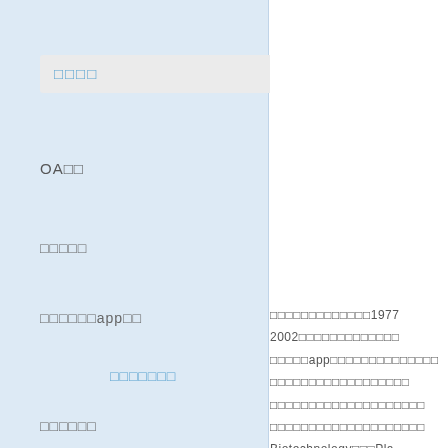□□□□
OA□□
□□□□□
□□□□□□app□□
□□□□□□□
□□□□□□
□□□□□□□□□□□□□1977 2002□□□□□□□□□□□□ □□□□□app□□□□□□□□□□□□□□ □□□□□□□□□□□□□□□□□ □□□□□□□□□□□□□□□□□□□ □□□□□□□□□□□□□□□□□□□ Biotechnology□□□Pla □□□8□□□□□□□□□4□□□□□2